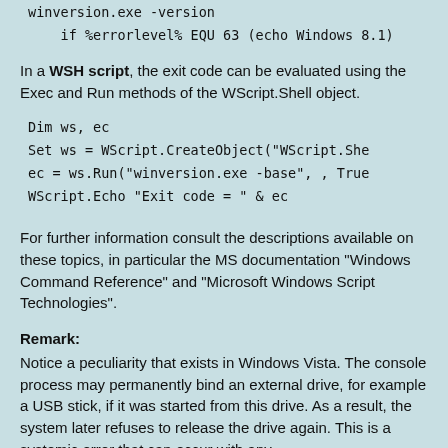winversion.exe  -version
    if %errorlevel% EQU 63 (echo Windows 8.1)
In a WSH script, the exit code can be evaluated using the Exec and Run methods of the WScript.Shell object.
Dim ws, ec
Set ws = WScript.CreateObject("WScript.She
ec = ws.Run("winversion.exe -base", , True
WScript.Echo "Exit code = " & ec
For further information consult the descriptions available on these topics, in particular the MS documentation "Windows Command Reference" and "Microsoft Windows Script Technologies".
Remark:
Notice a peculiarity that exists in Windows Vista. The console process may permanently bind an external drive, for example a USB stick, if it was started from this drive. As a result, the system later refuses to release the drive again. This is a systemic error that can occur with any